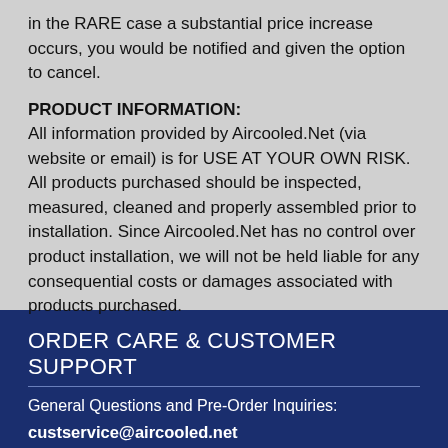in the RARE case a substantial price increase occurs, you would be notified and given the option to cancel.
PRODUCT INFORMATION:
All information provided by Aircooled.Net (via website or email) is for USE AT YOUR OWN RISK. All products purchased should be inspected, measured, cleaned and properly assembled prior to installation. Since Aircooled.Net has no control over product installation, we will not be held liable for any consequential costs or damages associated with products purchased.
ORDER CARE & CUSTOMER SUPPORT
General Questions and Pre-Order Inquiries:
custservice@aircooled.net
Care for Orders In Progess (Backorder ETAs,